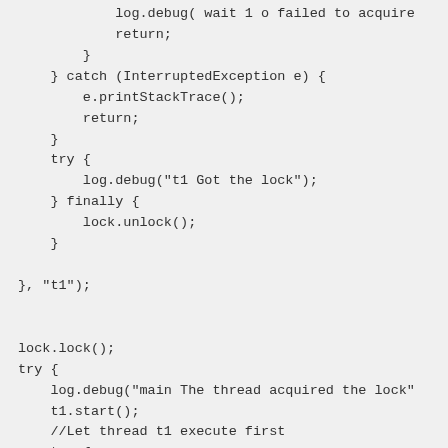log.debug( wait 1 o failed to acquire
            return;
        }
    } catch (InterruptedException e) {
        e.printStackTrace();
        return;
    }
    try {
        log.debug("t1 Got the lock");
    } finally {
        lock.unlock();
    }

}, "t1");


lock.lock();
try {
    log.debug("main The thread acquired the lock"
    t1.start();
    //Let thread t1 execute first
    try {